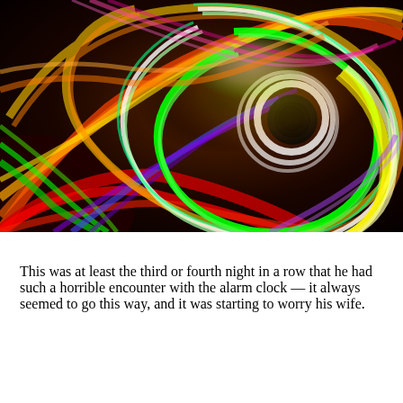[Figure (photo): Colorful long-exposure light painting photograph showing swirling spirals of vibrant colors including red, orange, yellow, green, blue, purple, and white against a dark background, creating a vortex-like abstract pattern.]
This was at least the third or fourth night in a row that he had such a horrible encounter with the alarm clock — it always seemed to go this way, and it was starting to worry his wife.